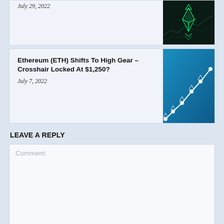July 29, 2022
[Figure (illustration): Dark background with glowing green Ethereum diamond logo and chart]
Ethereum (ETH) Shifts To High Gear – Crosshair Locked At $1,250?
July 7, 2022
[Figure (illustration): Blue gradient background with Ethereum logos on a rising line chart]
LEAVE A REPLY
Comment: